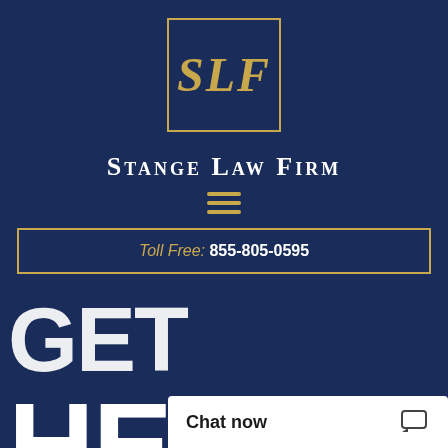[Figure (logo): SLF monogram logo in a gold-bordered box for Stange Law Firm]
Stange Law Firm
[Figure (other): Hamburger menu icon with three gold horizontal lines]
Toll Free: 855-805-0595
GET HELP NOW